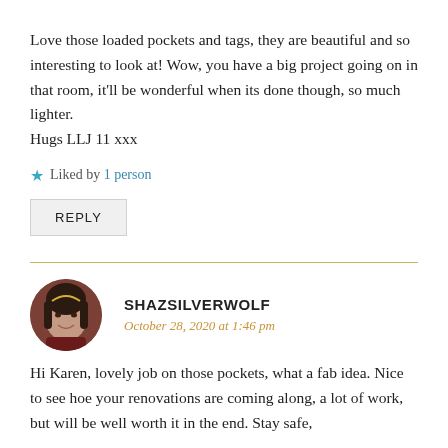Love those loaded pockets and tags, they are beautiful and so interesting to look at! Wow, you have a big project going on in that room, it'll be wonderful when its done though, so much lighter.
Hugs LLJ 11 xxx
★ Liked by 1 person
REPLY
SHAZSILVERWOLF
October 28, 2020 at 1:46 pm
Hi Karen, lovely job on those pockets, what a fab idea. Nice to see hoe your renovations are coming along, a lot of work, but will be well worth it in the end. Stay safe,